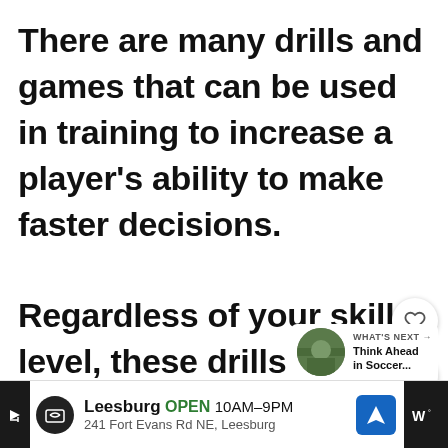There are many drills and games that can be used in training to increase a player's ability to make faster decisions.

Regardless of your skill level, these drills are useful and can be modified to benefit any player to think faster.
[Figure (other): Heart (favorite) button overlay on right side of text]
[Figure (other): Share button overlay on right side of text]
[Figure (other): What's Next panel with thumbnail and text: WHAT'S NEXT → Think Ahead in Soccer...]
Leesburg OPEN 10AM–9PM 241 Fort Evans Rd NE, Leesburg